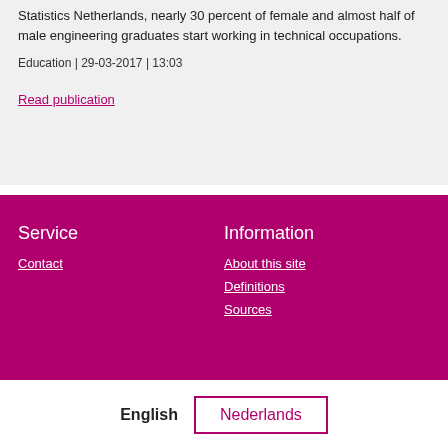Statistics Netherlands, nearly 30 percent of female and almost half of male engineering graduates start working in technical occupations.
Education | 29-03-2017 | 13:03
Read publication
Service
Contact
Information
About this site
Definitions
Sources
English
Nederlands